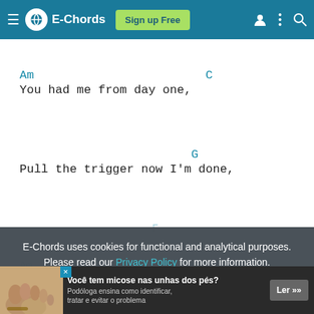E-Chords  Sign up Free
Am                              C
You had me from day one,
G
Pull the trigger now I'm done,
E-Chords uses cookies for functional and analytical purposes. Please read our Privacy Policy for more information.
Você tem micose nas unhas dos pés? Podóloga ensina como identificar, tratar e evitar o problema  Ler >>